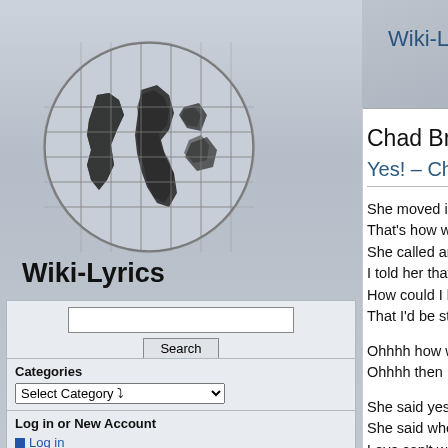Wiki-Lyrics
[Figure (illustration): Puzzle globe (world map made of puzzle pieces) in grayscale]
Wiki-Lyrics
Search box and Search button
Categories / Select Category dropdown
Log in or New Account
- Log in
- Add New Lyric
Chad Brock
Yes! – Chad Brock
She moved into my old apartment
That's how we got this whole thing started
She called and said that I had mail waiting there
I told her that I'd come and get it
How could I know in just a minute
That I'd be standing face to face with my own de…
Ohhhh how we sat there talking just like we wer…
Ohhhh then I asked her can I see you again
She said yes! and I said wow!
She said when and I said how about right now
Love can't wait then I asked if she believed in fa…
And she said yes
The days flew by just like a fast train
And nothing else has been on my brain
Except the thought of how she makes me the m…
She's the one I long for a million reasons